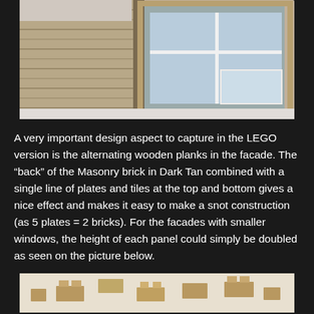[Figure (photo): Photo of a LEGO building facade model showing a large window with white frame and mullions, surrounded by Dark Tan masonry brick pattern representing alternating wooden planks. The model is photographed on a white surface.]
A very important design aspect to capture in the LEGO version is the alternating wooden planks in the facade. The “back” of the Masonry brick in Dark Tan combined with a single line of plates and tiles at the top and bottom gives a nice effect and makes it easy to make a snot construction (as 5 plates = 2 bricks). For the facades with smaller windows, the height of each panel could simply be doubled as seen on the picture below.
[Figure (photo): Photo showing individual Dark Tan LEGO masonry brick pieces and plates scattered on a white surface, demonstrating the components used in the facade construction.]